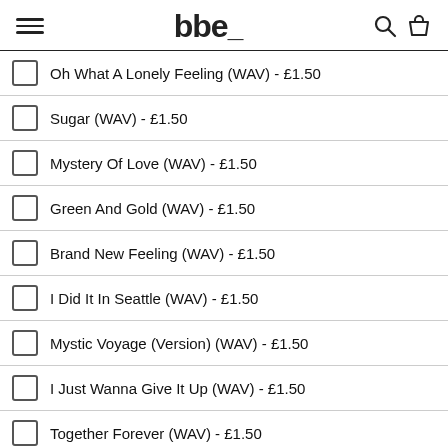bbe
Oh What A Lonely Feeling (WAV) - £1.50
Sugar (WAV) - £1.50
Mystery Of Love (WAV) - £1.50
Green And Gold (WAV) - £1.50
Brand New Feeling (WAV) - £1.50
I Did It In Seattle (WAV) - £1.50
Mystic Voyage (Version) (WAV) - £1.50
I Just Wanna Give It Up (WAV) - £1.50
Together Forever (WAV) - £1.50
I Am Your Mind (WAV) - £1.50
ADD TO BAG →